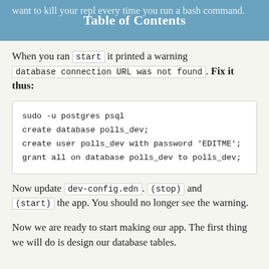Table of Contents
want to kill your repl every time you run a bash command.
When you ran start it printed a warning database connection URL was not found. Fix it thus:
sudo -u postgres psql
create database polls_dev;
create user polls_dev with password 'EDITME';
grant all on database polls_dev to polls_dev;
Now update dev-config.edn. (stop) and (start) the app. You should no longer see the warning.
Now we are ready to start making our app. The first thing we will do is design our database tables.